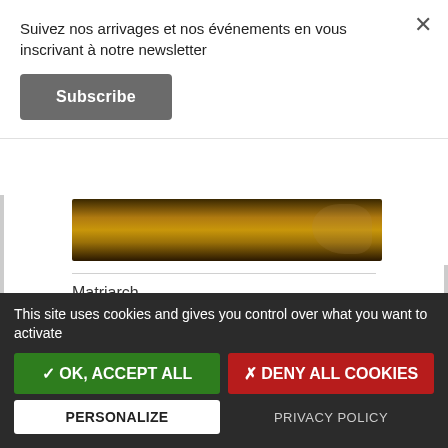Suivez nos arrivages et nos événements en vous inscrivant à notre newsletter
Subscribe
[Figure (photo): Dark wooden surface with warm amber/golden lighting, possibly a guitar body or wooden instrument]
Matriarch
2 049,00 € TTC
out of stock
This site uses cookies and gives you control over what you want to activate
✓ OK, ACCEPT ALL
✗ DENY ALL COOKIES
PERSONALIZE
PRIVACY POLICY